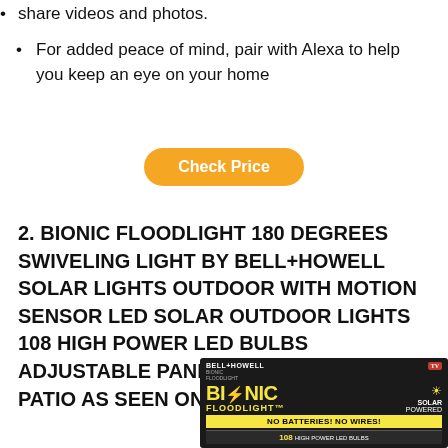share videos and photos.
For added peace of mind, pair with Alexa to help you keep an eye on your home
Check Price
2. BIONIC FLOODLIGHT 180 DEGREES SWIVELING LIGHT BY BELL+HOWELL SOLAR LIGHTS OUTDOOR WITH MOTION SENSOR LED SOLAR OUTDOOR LIGHTS 108 HIGH POWER LED BULBS ADJUSTABLE PANELS FOR GARDEN PATIO AS SEEN ON TV
[Figure (photo): Product box of Bionic Floodlight by Bell+Howell — solar powered, 108 LED bulbs, no batteries no wires, as seen on TV]